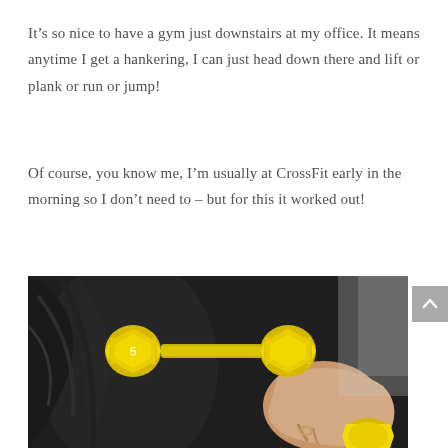It's so nice to have a gym just downstairs at my office. It means anytime I get a hankering, I can just head down there and lift or plank or run or jump!
Of course, you know me, I'm usually at CrossFit early in the morning so I don't need to – but for this it worked out!
[Figure (photo): Close-up photo of a person holding a yellow vinyl dumbbell weight against their torso, wearing a dark athletic top. The dumbbell is bright yellow with a rounded faceted shape.]